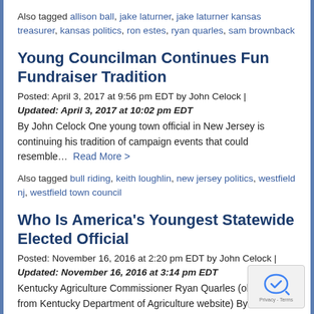Also tagged allison ball, jake laturner, jake laturner kansas treasurer, kansas politics, ron estes, ryan quarles, sam brownback
Young Councilman Continues Fun Fundraiser Tradition
Posted: April 3, 2017 at 9:56 pm EDT by John Celock | Updated: April 3, 2017 at 10:02 pm EDT
By John Celock One young town official in New Jersey is continuing his tradition of campaign events that could resemble…  Read More >
Also tagged bull riding, keith loughlin, new jersey politics, westfield nj, westfield town council
Who Is America's Youngest Statewide Elected Official
Posted: November 16, 2016 at 2:20 pm EDT by John Celock | Updated: November 16, 2016 at 3:14 pm EDT
Kentucky Agriculture Commissioner Ryan Quarles (obta from Kentucky Department of Agriculture website) By Jo.... Celock...